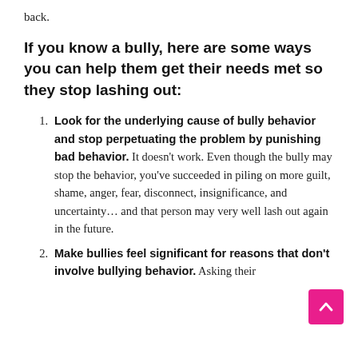back.
If you know a bully, here are some ways you can help them get their needs met so they stop lashing out:
Look for the underlying cause of bully behavior and stop perpetuating the problem by punishing bad behavior. It doesn’t work. Even though the bully may stop the behavior, you’ve succeeded in piling on more guilt, shame, anger, fear, disconnect, insignificance, and uncertainty… and that person may very well lash out again in the future.
Make bullies feel significant for reasons that don’t involve bullying behavior. Asking their